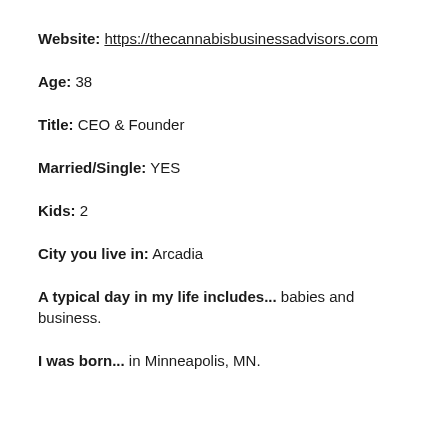Website: https://thecannabisbusinessadvisors.com
Age: 38
Title: CEO & Founder
Married/Single: YES
Kids: 2
City you live in: Arcadia
A typical day in my life includes... babies and business.
I was born... in Minneapolis, MN.